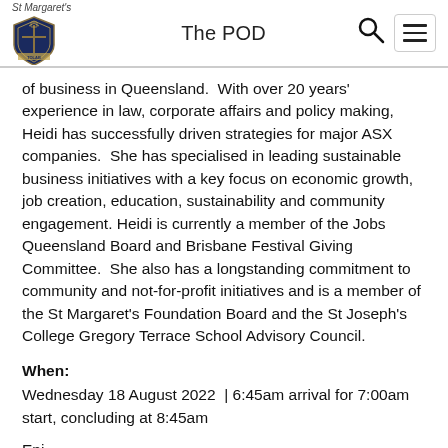St Margaret's | The POD
of business in Queensland.  With over 20 years' experience in law, corporate affairs and policy making, Heidi has successfully driven strategies for major ASX companies.  She has specialised in leading sustainable business initiatives with a key focus on economic growth, job creation, education, sustainability and community engagement. Heidi is currently a member of the Jobs Queensland Board and Brisbane Festival Giving Committee.  She also has a longstanding commitment to community and not-for-profit initiatives and is a member of the St Margaret's Foundation Board and the St Joseph's College Gregory Terrace School Advisory Council.
When:
Wednesday 18 August 2022  | 6:45am arrival for 7:00am start, concluding at 8:45am
Enj... Barista Coffee from the Wolf Coffee Roasters...